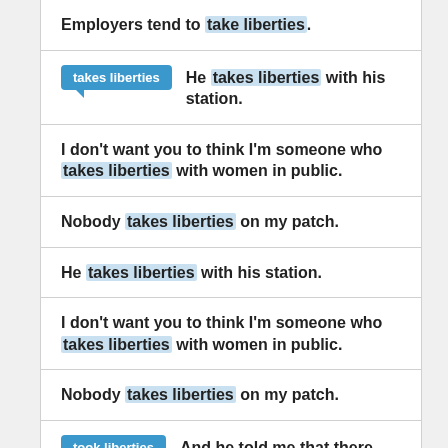Employers tend to take liberties.
takes liberties — He takes liberties with his station.
I don't want you to think I'm someone who takes liberties with women in public.
Nobody takes liberties on my patch.
He takes liberties with his station.
I don't want you to think I'm someone who takes liberties with women in public.
Nobody takes liberties on my patch.
took liberties — And he told me that there were certain